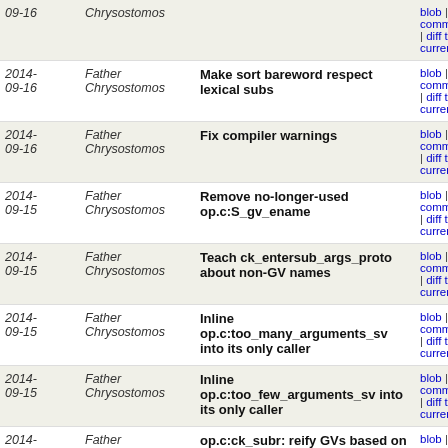| Date | Author | Message | Links |
| --- | --- | --- | --- |
| 2014-09-16 | Father Chrysostomos |  | blob | commitdiff | diff to current |
| 2014-09-16 | Father Chrysostomos | Make sort bareword respect lexical subs | blob | commitdiff | diff to current |
| 2014-09-16 | Father Chrysostomos | Fix compiler warnings | blob | commitdiff | diff to current |
| 2014-09-15 | Father Chrysostomos | Remove no-longer-used op.c:S_gv_ename | blob | commitdiff | diff to current |
| 2014-09-15 | Father Chrysostomos | Teach ck_entersub_args_proto about non-GV names | blob | commitdiff | diff to current |
| 2014-09-15 | Father Chrysostomos | Inline op.c:too_many_arguments_sv into its only caller | blob | commitdiff | diff to current |
| 2014-09-15 | Father Chrysostomos | Inline op.c:too_few_arguments_sv into its only caller | blob | commitdiff | diff to current |
| 2014-09-15 | Father Chrysostomos | op.c:ck_subr: reify GVs based on call checker | blob | commitdiff | diff to current |
| 2014-09-15 | Father Chrysostomos | Add cv_set_call_checker_flags | blob | commitdiff | diff to current |
| 2014-09-15 | Father Chrysostomos | Avoid reifying GVs in rv2cv | blob | commitdiff | diff to current |
| 2014-09-15 | Father Chrysostomos | op.c: ck_rvconst: Inline the noexpand var | blob | commitdiff | diff to |